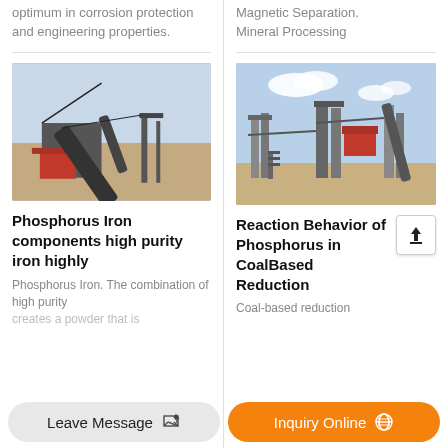optimum in corrosion protection and engineering properties.
[Figure (photo): Industrial mining/crushing equipment with conveyor belts on a dry outdoor site]
Phosphorus Iron components high purity iron highly
Phosphorus Iron. The combination of high purity creates a powder that is
Magnetic Separation. Mineral Processing
[Figure (photo): Large industrial mineral processing plant with steel structures and conveyor systems outdoors]
Reaction Behavior of Phosphorus in CoalBased Reduction
Coal-based reduction
Leave Message
Inquiry Online